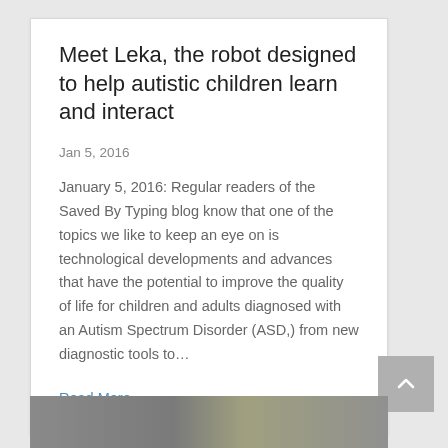Meet Leka, the robot designed to help autistic children learn and interact
Jan 5, 2016
January 5, 2016: Regular readers of the Saved By Typing blog know that one of the topics we like to keep an eye on is technological developments and advances that have the potential to improve the quality of life for children and adults diagnosed with an Autism Spectrum Disorder (ASD,) from new diagnostic tools to…
Read More
[Figure (photo): Partial photo strip visible at bottom of page showing an image related to the article about Leka robot]